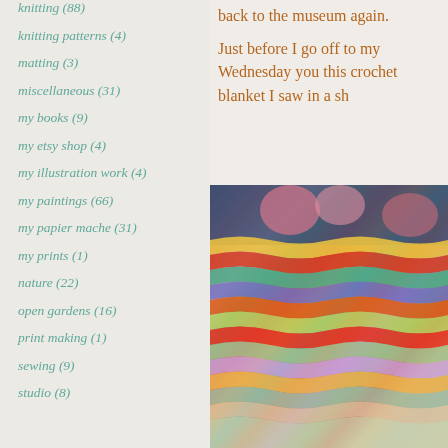knitting (88)
knitting patterns (4)
matting (3)
miscellaneous (31)
my books (9)
my etsy shop (4)
my illustration work (4)
my paintings (66)
my papier mache (31)
my prints (1)
nature (22)
open gardens (16)
print making (1)
sewing (9)
studio (8)
back to the museum again.
Just before I go off to my Wednesday you this crochet blanket I saw in a sh
[Figure (photo): Close-up photo of a colorful crocheted blanket with zigzag/ripple pattern in multiple colors including red, orange, green, teal, purple, and yellow, folded on top of floral fabric.]